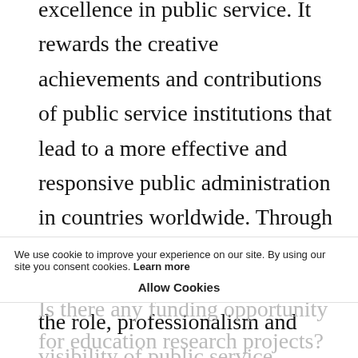excellence in public service. It rewards the creative achievements and contributions of public service institutions that lead to a more effective and responsive public administration in countries worldwide. Through an annual competition, the UN Public Service Awards promotes the role, professionalism and visibility of public service [more...]
We use cookie to improve your experience on our site. By using our site you consent cookies. Learn more
Allow Cookies
Is there any funding opportunity for education research projects?